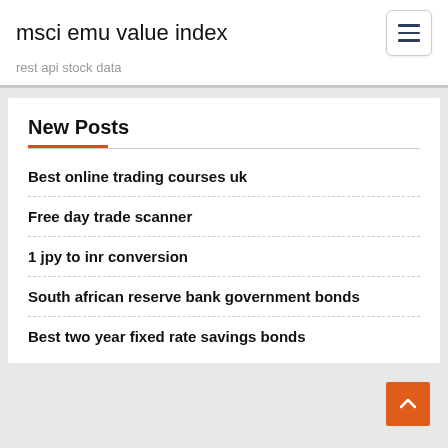msci emu value index
rest api stock data
New Posts
Best online trading courses uk
Free day trade scanner
1 jpy to inr conversion
South african reserve bank government bonds
Best two year fixed rate savings bonds